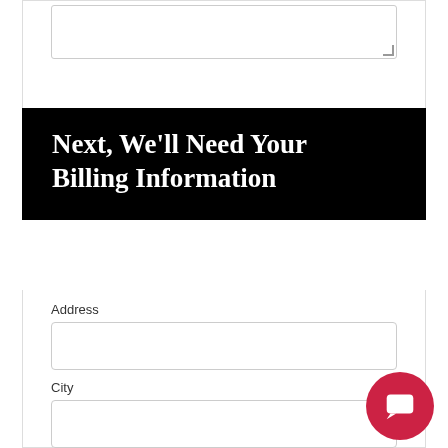[Figure (screenshot): Textarea input stub at the top of the form]
Next, We'll Need Your Billing Information
Address
[Figure (screenshot): Address text input field]
City
[Figure (screenshot): City text input field]
State/Province
[Figure (screenshot): State/Province text input field]
Zip
[Figure (screenshot): Zip text input field (partially visible)]
[Figure (other): Red circular chat/message button in bottom-right corner]